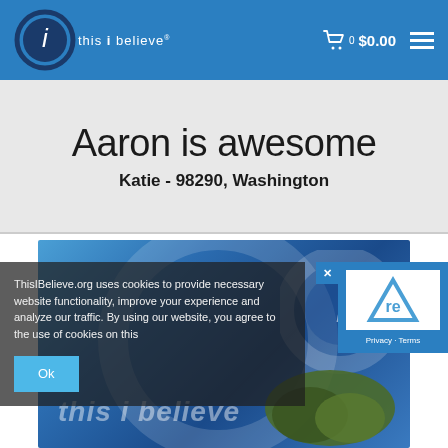this i believe — $0.00 cart
Aaron is awesome
Katie - 98290, Washington
[Figure (illustration): Blue decorative background image with circular design elements and 'this i believe' logo watermark, with a tree silhouette in the lower right]
ThisIBelieve.org uses cookies to provide necessary website functionality, improve your experience and analyze our traffic. By using our website, you agree to the use of cookies on this
Ok
[Figure (logo): reCAPTCHA logo with Privacy and Terms links]